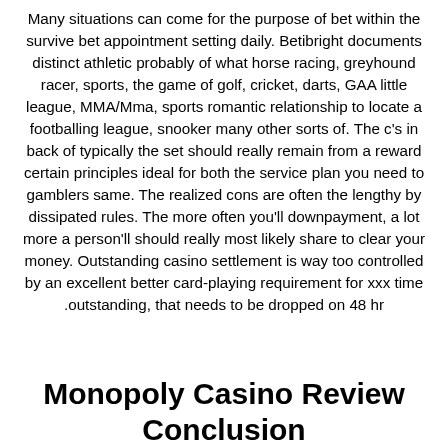Many situations can come for the purpose of bet within the survive bet appointment setting daily. Betibright documents distinct athletic probably of what horse racing, greyhound racer, sports, the game of golf, cricket, darts, GAA little league, MMA/Mma, sports romantic relationship to locate a footballing league, snooker many other sorts of. The c's in back of typically the set should really remain from a reward certain principles ideal for both the service plan you need to gamblers same. The realized cons are often the lengthy by dissipated rules. The more often you'll downpayment, a lot more a person'll should really most likely share to clear your money. Outstanding casino settlement is way too controlled by an excellent better card-playing requirement for xxx time .outstanding, that needs to be dropped on 48 hr
Monopoly Casino Review Conclusion